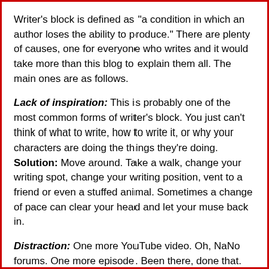Writer's block is defined as "a condition in which an author loses the ability to produce." There are plenty of causes, one for everyone who writes and it would take more than this blog to explain them all. The main ones are as follows.
Lack of inspiration: This is probably one of the most common forms of writer's block. You just can't think of what to write, how to write it, or why your characters are doing the things they're doing. Solution: Move around. Take a walk, change your writing spot, change your writing position, vent to a friend or even a stuffed animal. Sometimes a change of pace can clear your head and let your muse back in.
Distraction: One more YouTube video. Oh, NaNo forums. One more episode. Been there, done that. The internet is the most distracting thing for anyone, never mind a writer who may or may not be procrastinating on finishing their novel. Solution: Get rid of the distraction. I'm not saying cut off the internet completely, just use something to block it for a while. This right here is what's stopping me from finishing my WIP and moving onto planning things for NaNo.